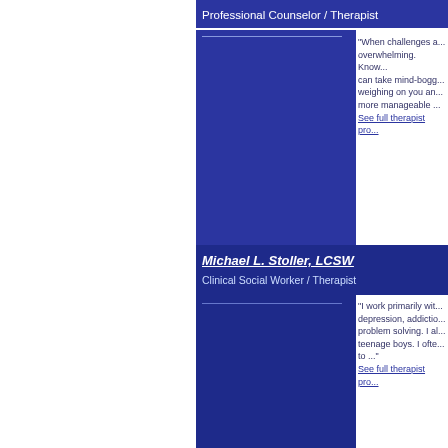Professional Counselor / Therapist
"When challenges are overwhelming. Know can take mind-boggling weighing on you and more manageable ...
See full therapist pro...
Michael L. Stoller, LCSW
Clinical Social Worker / Therapist
"I work primarily with depression, addiction, problem solving. I also teenage boys. I often to ..."
See full therapist pro...